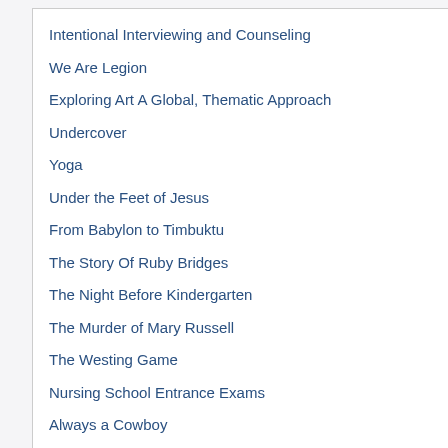Intentional Interviewing and Counseling
We Are Legion
Exploring Art A Global, Thematic Approach
Undercover
Yoga
Under the Feet of Jesus
From Babylon to Timbuktu
The Story Of Ruby Bridges
The Night Before Kindergarten
The Murder of Mary Russell
The Westing Game
Nursing School Entrance Exams
Always a Cowboy